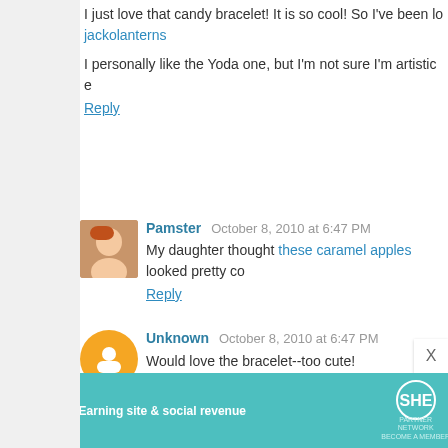I just love that candy bracelet! It is so cool! So I've been lo... jackolanterns
I personally like the Yoda one, but I'm not sure I'm artistic e...
Reply
Pamster  October 8, 2010 at 6:47 PM
My daughter thought these caramel apples looked pretty co...
Reply
Unknown  October 8, 2010 at 6:47 PM
Would love the bracelet--too cute!
My Fav Halloween costume is this banana suit that my 2 m...
Did I mention that my 2 year old will be a monkey?? Tee he...
amyscookingadventures(at)gmail(dot)com
Reply
[Figure (infographic): SHE Partner Network advertisement banner: Earning site & social revenue, with LEARN MORE button]